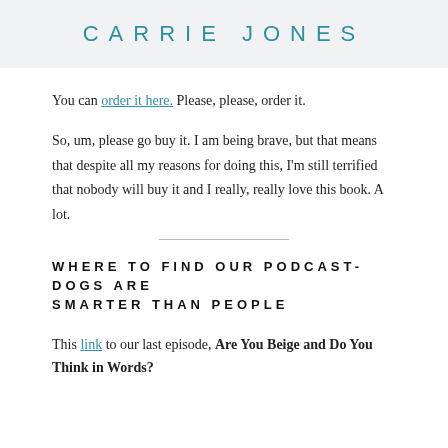CARRIE JONES
You can order it here. Please, please, order it.
So, um, please go buy it. I am being brave, but that means that despite all my reasons for doing this, I'm still terrified that nobody will buy it and I really, really love this book. A lot.
WHERE TO FIND OUR PODCAST- DOGS ARE SMARTER THAN PEOPLE
This link to our last episode, Are You Beige and Do You Think in Words?